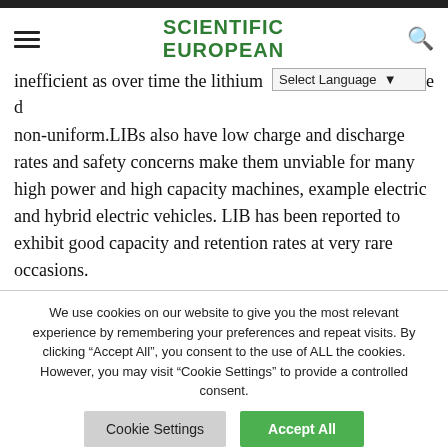SCIENTIFIC EUROPEAN
inefficient as over time the lithium deposits become non-uniform. LIBs also have low charge and discharge rates and safety concerns make them unviable for many high power and high capacity machines, example electric and hybrid electric vehicles. LIB has been reported to exhibit good capacity and retention rates at very rare occasions.
We use cookies on our website to give you the most relevant experience by remembering your preferences and repeat visits. By clicking “Accept All”, you consent to the use of ALL the cookies. However, you may visit "Cookie Settings" to provide a controlled consent.